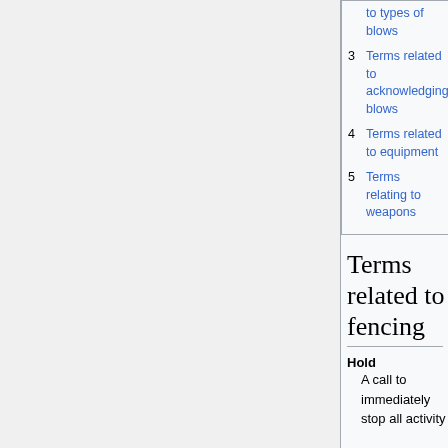to types of blows
3 Terms related to acknowledging blows
4 Terms related to equipment
5 Terms relating to weapons
Terms related to fencing
Hold
A call to immediately stop all activity